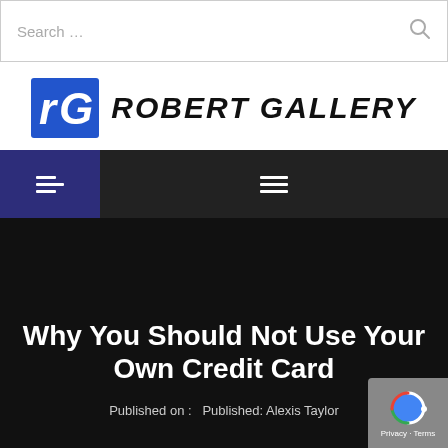Search …
[Figure (logo): Robert Gallery logo with blue rG icon and bold serif text ROBERT GALLERY]
[Figure (other): Navigation bar with dark background, indigo hamburger menu on left and white hamburger menu in center]
Why You Should Not Use Your Own Credit Card
Published on :   Published: Alexis Taylor